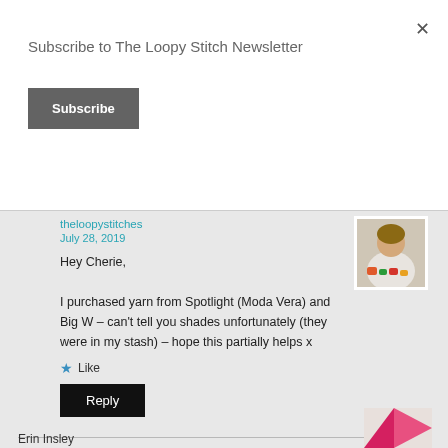Subscribe to The Loopy Stitch Newsletter
Subscribe
theloopystitches
July 28, 2019
[Figure (photo): Avatar photo of theloopystitches user — person crocheting with colorful yarn]
Hey Cherie,
I purchased yarn from Spotlight (Moda Vera) and Big W – can't tell you shades unfortunately (they were in my stash) – hope this partially helps x
★ Like
Reply
Erin Insley